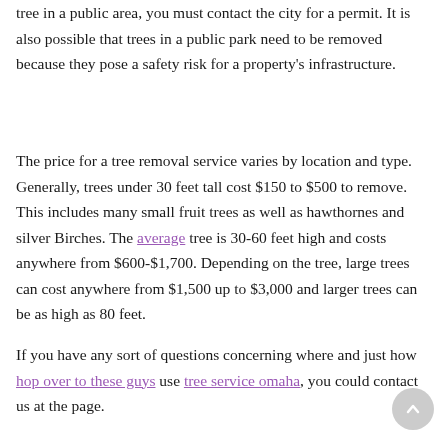tree in a public area, you must contact the city for a permit. It is also possible that trees in a public park need to be removed because they pose a safety risk for a property's infrastructure.
The price for a tree removal service varies by location and type. Generally, trees under 30 feet tall cost $150 to $500 to remove. This includes many small fruit trees as well as hawthornes and silver Birches. The average tree is 30-60 feet high and costs anywhere from $600-$1,700. Depending on the tree, large trees can cost anywhere from $1,500 up to $3,000 and larger trees can be as high as 80 feet.
If you have any sort of questions concerning where and just how hop over to these guys use tree service omaha, you could contact us at the page.